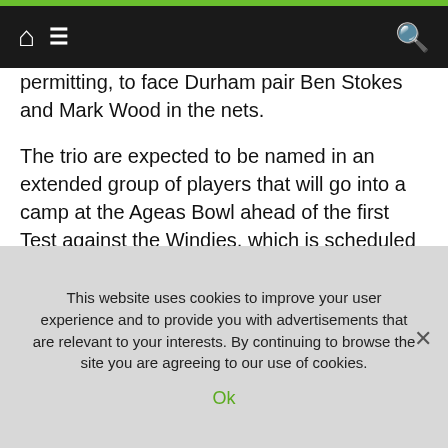[navigation bar with home, menu, and search icons]
permitting, to face Durham pair Ben Stokes and Mark Wood in the nets.
The trio are expected to be named in an extended group of players that will go into a camp at the Ageas Bowl ahead of the first Test against the Windies, which is scheduled to get under way on July 8 behind closed doors.
Bairstow insists the absence of a crowd will not hand the tourists a psychological edge, as he said: “It is a level playing field. Internal motivators will get you
This website uses cookies to improve your user experience and to provide you with advertisements that are relevant to your interests. By continuing to browse the site you are agreeing to our use of cookies.
Ok